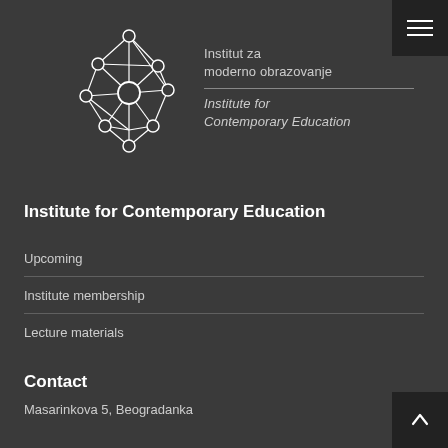[Figure (logo): Network graph logo with nodes and edges forming a geometric shape, white on dark background]
Institut za moderno obrazovanje
Institute for Contemporary Education
Institute for Contemporary Education
Upcoming
Institute membership
Lecture materials
Contact
Masarinkova 5, Beogradanka